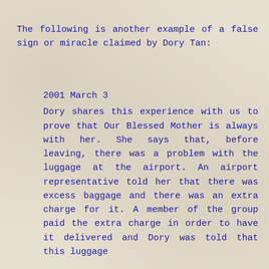The following is another example of a false sign or miracle claimed by Dory Tan:
2001 March 3
Dory shares this experience with us to prove that Our Blessed Mother is always with her. She says that, before leaving, there was a problem with the luggage at the airport. An airport representative told her that there was excess baggage and there was an extra charge for it. A member of the group paid the extra charge in order to have it delivered and Dory was told that this luggage